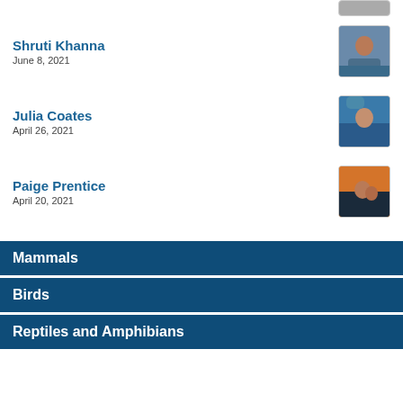Shruti Khanna
June 8, 2021
[Figure (photo): Thumbnail photo of Shruti Khanna]
Julia Coates
April 26, 2021
[Figure (photo): Thumbnail photo of Julia Coates]
Paige Prentice
April 20, 2021
[Figure (photo): Thumbnail photo of Paige Prentice]
Mammals
Birds
Reptiles and Amphibians